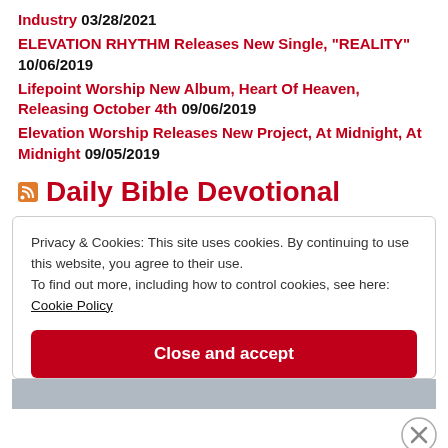Industry 03/28/2021
ELEVATION RHYTHM Releases New Single, "REALITY" 10/06/2019
Lifepoint Worship New Album, Heart Of Heaven, Releasing October 4th 09/06/2019
Elevation Worship Releases New Project, At Midnight, At Midnight 09/05/2019
Daily Bible Devotional
Privacy & Cookies: This site uses cookies. By continuing to use this website, you agree to their use.
To find out more, including how to control cookies, see here:
Cookie Policy
Close and accept